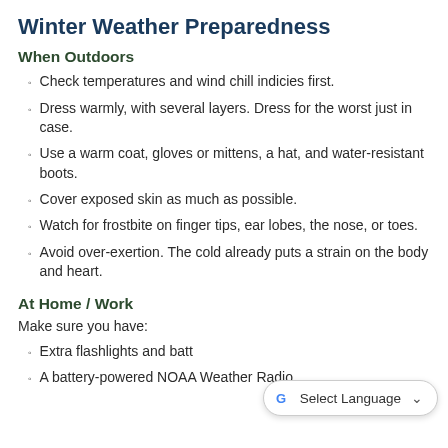Winter Weather Preparedness
When Outdoors
Check temperatures and wind chill indicies first.
Dress warmly, with several layers. Dress for the worst just in case.
Use a warm coat, gloves or mittens, a hat, and water-resistant boots.
Cover exposed skin as much as possible.
Watch for frostbite on finger tips, ear lobes, the nose, or toes.
Avoid over-exertion. The cold already puts a strain on the body and heart.
At Home / Work
Make sure you have:
Extra flashlights and batt…
A battery-powered NOAA Weather Radio